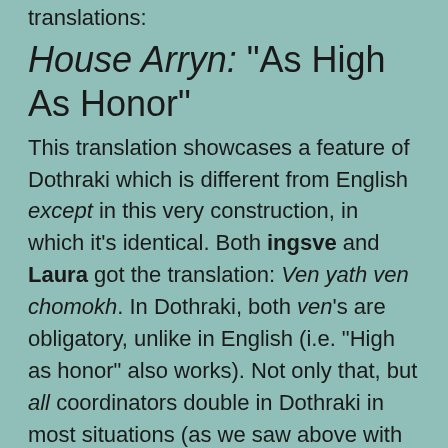translations:
House Arryn: “As High As Honor”
This translation showcases a feature of Dothraki which is different from English except in this very construction, in which it’s identical. Both ingsve and Laura got the translation: Ven yath ven chomokh. In Dothraki, both ven’s are obligatory, unlike in English (i.e. “High as honor” also works). Not only that, but all coordinators double in Dothraki in most situations (as we saw above with ma). There are some that can occur by themselves, but only in very specific grammatical contexts. For